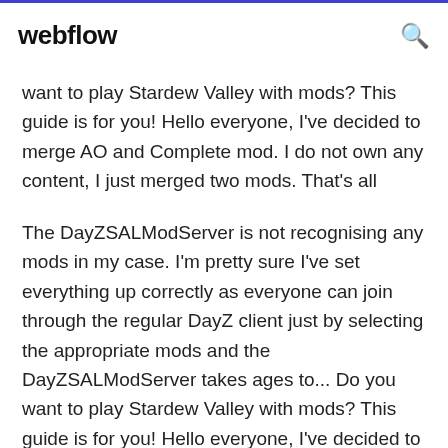webflow
want to play Stardew Valley with mods? This guide is for you! Hello everyone, I've decided to merge AO and Complete mod. I do not own any content, I just merged two mods. That's all
The DayZSALModServer is not recognising any mods in my case. I'm pretty sure I've set everything up correctly as everyone can join through the regular DayZ client just by selecting the appropriate mods and the DayZSALModServer takes ages to... Do you want to play Stardew Valley with mods? This guide is for you! Hello everyone, I've decided to merge AO and Complete mod. I do not own any